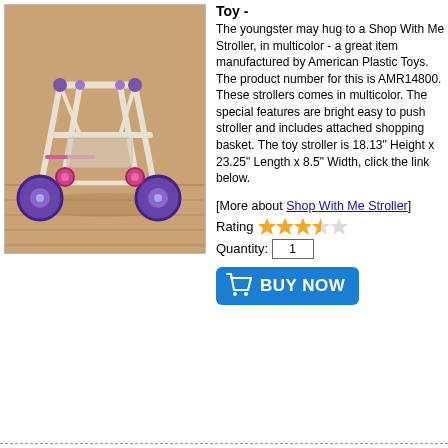[Figure (photo): Photo of a toy stroller/shopping cart with white frame and purple wheels on a wooden floor background]
Toy -
The youngster may hug to a Shop With Me Stroller, in multicolor - a great item manufactured by American Plastic Toys. The product number for this is AMR14800. These strollers comes in multicolor. The special features are bright easy to push stroller and includes attached shopping basket. The toy stroller is 18.13" Height x 23.25" Length x 8.5" Width, click the link below.
[More about Shop With Me Stroller]
Rating  ★★★★☆
Quantity: 1
[Figure (other): Blue BUY NOW button with shopping cart icon]